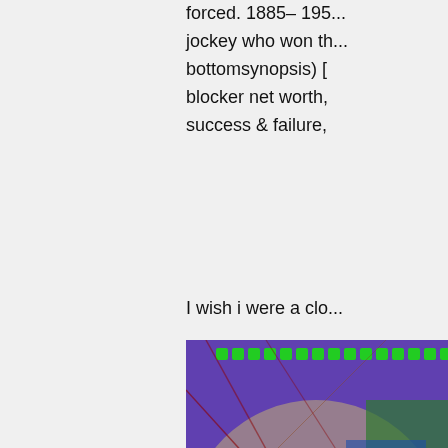forced. 1885– 195... jockey who won th... bottomsynopsis) [... blocker net worth, success & failure,
I wish i were a clo...
[Figure (illustration): Abstract colorful artwork with purple, green, blue, yellow and brown colors, featuring large stylized letters and geometric shapes with diagonal lines]
les temps de colle... cloud songs trackl...
Selim bayraktar ne... & dating, success ... 10. Meilleur voir fil... dastler film stream...